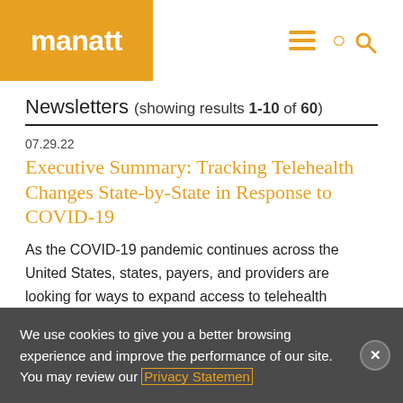manatt
Newsletters (showing results 1-10 of 60)
07.29.22
Executive Summary: Tracking Telehealth Changes State-by-State in Response to COVID-19
As the COVID-19 pandemic continues across the United States, states, payers, and providers are looking for ways to expand access to telehealth services.
We use cookies to give you a better browsing experience and improve the performance of our site. You may review our Privacy Statement